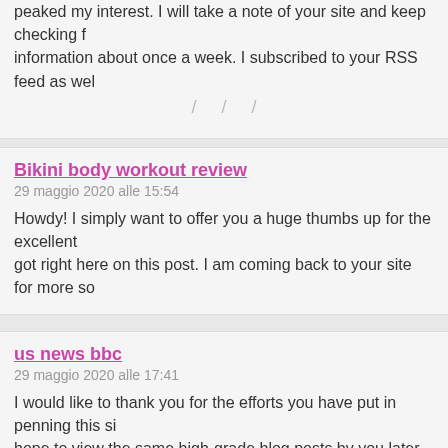peaked my interest. I will take a note of your site and keep checking for new information about once a week. I subscribed to your RSS feed as wel…
Bikini body workout review
29 maggio 2020 alle 15:54
Howdy! I simply want to offer you a huge thumbs up for the excellent info you got right here on this post. I am coming back to your site for more so…
us news bbc
29 maggio 2020 alle 17:41
I would like to thank you for the efforts you have put in penning this si… I hope to view the same high-grade blog posts by you later on as well. your creative writing abilities has motivated me to get my own, perso…
Las Vegas
29 maggio 2020 alle 20:31
Hi, I do believe this is a great website. I stumbledupon it I may come back once again since I book-marked it. Money and freedom is the…